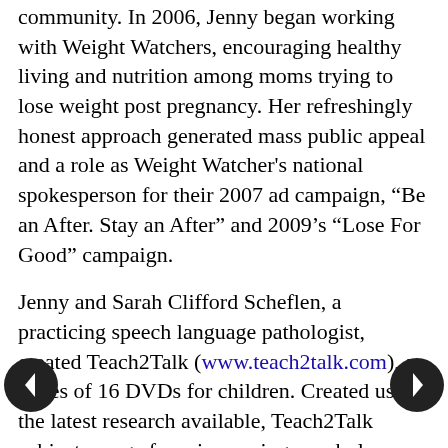community. In 2006, Jenny began working with Weight Watchers, encouraging healthy living and nutrition among moms trying to lose weight post pregnancy. Her refreshingly honest approach generated mass public appeal and a role as Weight Watcher's national spokesperson for their 2007 ad campaign, “Be an After. Stay an After” and 2009’s “Lose For Good” campaign.
Jenny and Sarah Clifford Scheflen, a practicing speech language pathologist, created Teach2Talk (www.teach2talk.com), a series of 16 DVDs for children. Created using the latest research available, Teach2Talk subjects range from improving vocabulary skills to dealing with negative behaviors and temper tantrums entertaining children while teaching them [key vocabulary and social skills]